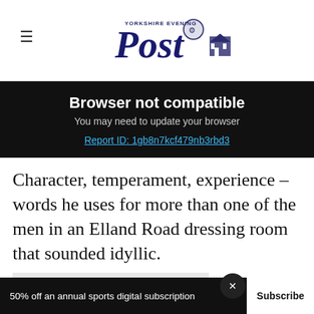Yorkshire Evening Post (logo)
Browser not compatible
You may need to update your browser
Report ID: 1gb8n7kcf479nb3rbd3
Character, temperament, experience – words he uses for more than one of the men in an Elland Road dressing room that sounded idyllic.
He had older heads like Gordon Strachan and young lads like David... ...eam
50% off an annual sports digital subscription